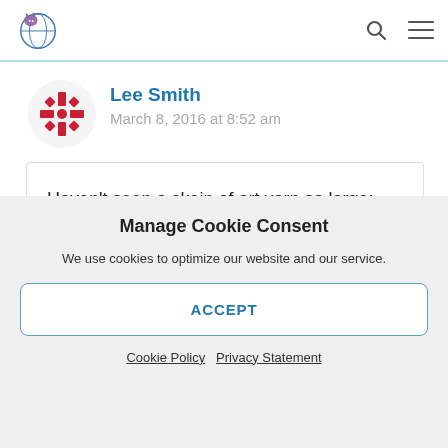Navigation bar with logo, search icon, and menu icon
Lee Smith
March 8, 2016 at 8:52 am
Haven't seen a skein of art yarn so large; fantastic!
Manage Cookie Consent
We use cookies to optimize our website and our service.
ACCEPT
Cookie Policy  Privacy Statement